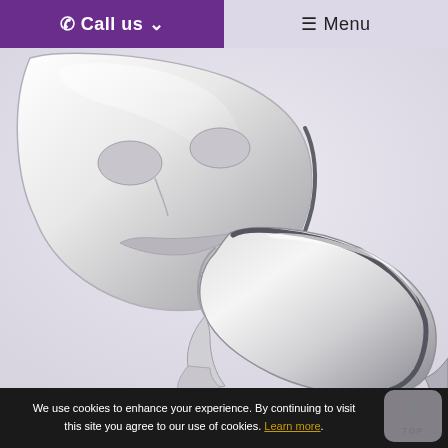📞 Call us ∨   ☰ Menu
[Figure (photo): Two white reflective face mask devices (Déesse PRO LED light therapy masks) shown against a light lavender-grey background. The upper mask is shown from the front at an angle, and the lower mask is shown from the side profile view.]
We use cookies to enhance your experience. By continuing to visit this site you agree to our use of cookies. Learn more.